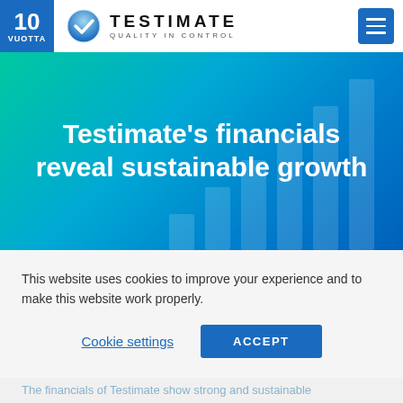[Figure (logo): Testimate logo with blue checkmark icon, company name TESTIMATE and tagline QUALITY IN CONTROL, plus '10 VUOTTA' badge on the left and hamburger menu icon on the right]
Testimate’s financials reveal sustainable growth
This website uses cookies to improve your experience and to make this website work properly.
Cookie settings    ACCEPT